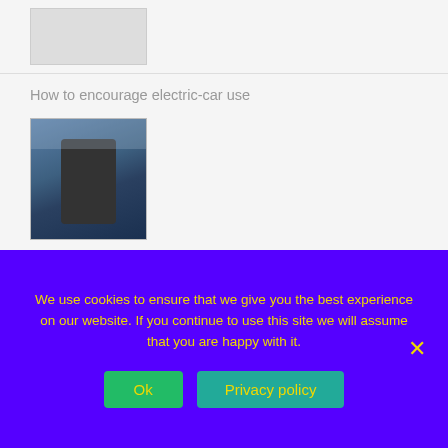[Figure (photo): Partial thumbnail image of an article at top of page]
How to encourage electric-car use
[Figure (photo): Electric vehicle charging station in a parking lot]
Could the EV boom run out of juice before it really gets going?
[Figure (photo): Yellow electric vehicle close-up]
[Figure (photo): Dark electric vehicle close-up]
We use cookies to ensure that we give you the best experience on our website. If you continue to use this site we will assume that you are happy with it.